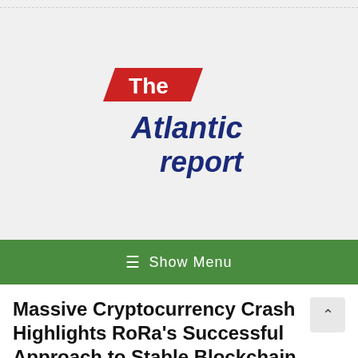[Figure (logo): The Atlantic Report logo — 'The' in white text on a red parallelogram banner, 'Atlantic' in bold dark blue italic, 'report' in bold dark blue/navy italic below]
≡  Show Menu
Massive Cryptocurrency Crash Highlights RoRa's Successful Approach to Stable Blockchain Investing